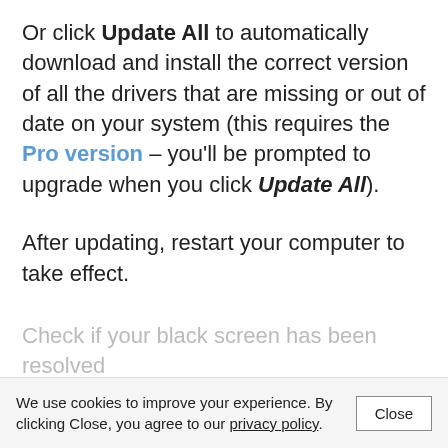Or click Update All to automatically download and install the correct version of all the drivers that are missing or out of date on your system (this requires the Pro version – you'll be prompted to upgrade when you click Update All).
After updating, restart your computer to take effect.
Check if your black screen has been resolved
We use cookies to improve your experience. By clicking Close, you agree to our privacy policy.